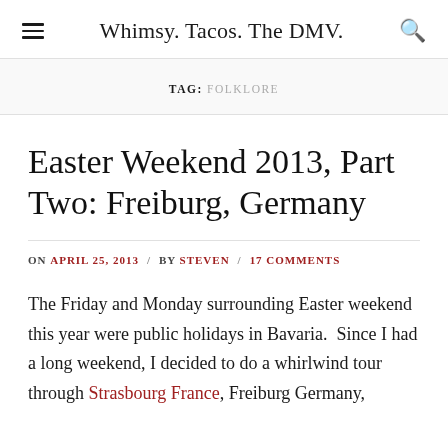Whimsy. Tacos. The DMV.
TAG: FOLKLORE
Easter Weekend 2013, Part Two: Freiburg, Germany
ON APRIL 25, 2013 / BY STEVEN / 17 COMMENTS
The Friday and Monday surrounding Easter weekend this year were public holidays in Bavaria.  Since I had a long weekend, I decided to do a whirlwind tour through Strasbourg France, Freiburg Germany,